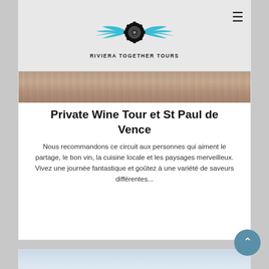[Figure (logo): Riviera Together Tours logo with winged wheel/gear icon and text RIVIERA TOGETHER TOURS]
[Figure (photo): Wooden surface texture - top of first card]
Private Wine Tour et St Paul de Vence
Nous recommandons ce circuit aux personnes qui aiment le partage, le bon vin, la cuisine locale et les paysages merveilleux. Vivez une journée fantastique et goûtez à une variété de saveurs différentes...
[Figure (photo): Sky with clouds - top of second card partially visible at bottom]